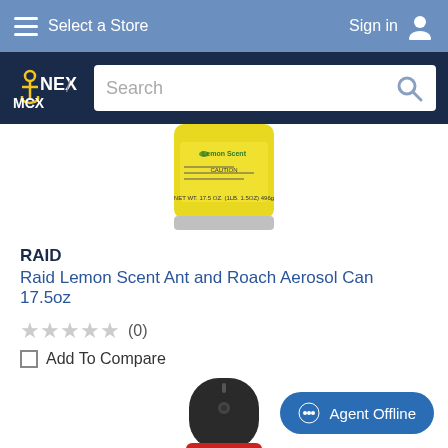Select a Store | Sign in
[Figure (screenshot): NEX / MCX logo with anchor icon and search bar]
[Figure (photo): Raid Lemon Scent aerosol can, yellow, showing label with NET WT 17.5 OZ (1LB. 1.5OZ) 496g]
RAID
Raid Lemon Scent Ant and Roach Aerosol Can 17.5oz
★★★★★ (0)
Add To Compare
[Figure (photo): Top portion of another Raid aerosol can, black cap with red body visible]
Agent Offline